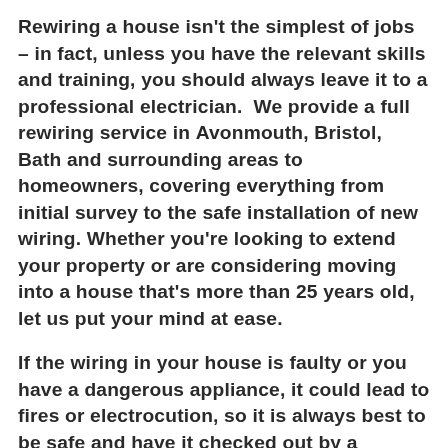Rewiring a house isn't the simplest of jobs – in fact, unless you have the relevant skills and training, you should always leave it to a professional electrician. We provide a full rewiring service in Avonmouth, Bristol, Bath and surrounding areas to homeowners, covering everything from initial survey to the safe installation of new wiring. Whether you're looking to extend your property or are considering moving into a house that's more than 25 years old, let us put your mind at ease.
If the wiring in your house is faulty or you have a dangerous appliance, it could lead to fires or electrocution, so it is always best to be safe and have it checked out by a professional.